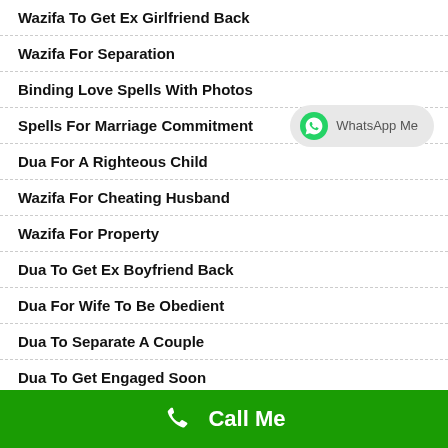Wazifa To Get Ex Girlfriend Back
Wazifa For Separation
Binding Love Spells With Photos
Spells For Marriage Commitment
Dua For A Righteous Child
Wazifa For Cheating Husband
Wazifa For Property
Dua To Get Ex Boyfriend Back
Dua For Wife To Be Obedient
Dua To Separate A Couple
Dua To Get Engaged Soon
Love Problem Solution Maulana
Call Me